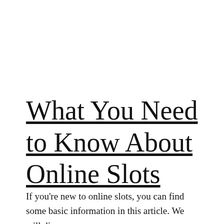What You Need to Know About Online Slots
If you're new to online slots, you can find some basic information in this article. We will discuss Gameplay, Payouts, and Special features. We'll